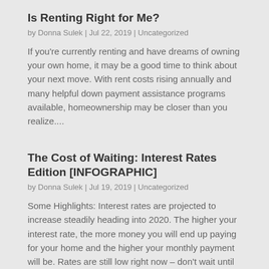Is Renting Right for Me?
by Donna Sulek | Jul 22, 2019 | Uncategorized
If you're currently renting and have dreams of owning your own home, it may be a good time to think about your next move. With rent costs rising annually and many helpful down payment assistance programs available, homeownership may be closer than you realize....
The Cost of Waiting: Interest Rates Edition [INFOGRAPHIC]
by Donna Sulek | Jul 19, 2019 | Uncategorized
Some Highlights: Interest rates are projected to increase steadily heading into 2020. The higher your interest rate, the more money you will end up paying for your home and the higher your monthly payment will be. Rates are still low right now – don't wait until